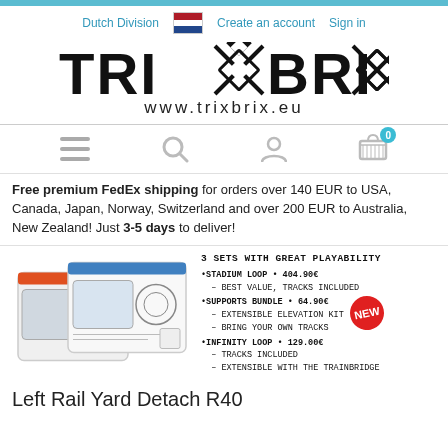Dutch Division | Create an account | Sign in
[Figure (logo): TRIXBRIX logo with diamond/X pattern symbols replacing X characters, and www.trixbrix.eu below]
[Figure (infographic): Navigation icons: hamburger menu, search, user account, shopping cart with badge showing 0]
Free premium FedEx shipping for orders over 140 EUR to USA, Canada, Japan, Norway, Switzerland and over 200 EUR to Australia, New Zealand! Just 3-5 days to deliver!
[Figure (photo): Product boxes image on left, and handwritten-style text on right: 3 SETS WITH GREAT PLAYABILITY. STADIUM LOOP 404.90€ - BEST VALUE, TRACKS INCLUDED. SUPPORTS BUNDLE 64.90€ - EXTENSIBLE ELEVATION KIT - BRING YOUR OWN TRACKS. INFINITY LOOP 129.00€ - TRACKS INCLUDED - EXTENSIBLE WITH THE TRAINBRIDGE. NEW badge in red starburst.]
Left Rail Yard Detach R40